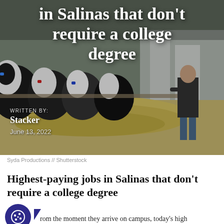[Figure (photo): Hero image of cattle feeding at a barn trough with a person standing in background, farm/agricultural setting]
in Salinas that don't require a college degree
WRITTEN BY:
Stacker
June 13, 2022
Syda Productions // Shutterstock
Highest-paying jobs in Salinas that don't require a college degree
rom the moment they arrive on campus, today's high